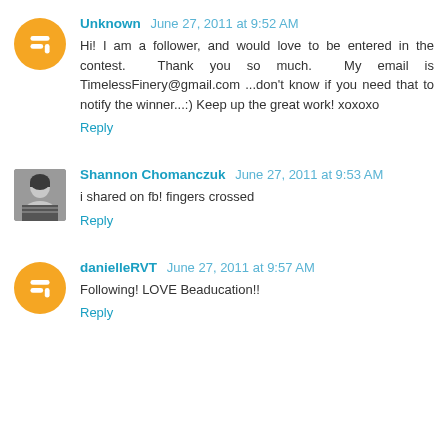Unknown  June 27, 2011 at 9:52 AM
Hi! I am a follower, and would love to be entered in the contest. Thank you so much. My email is TimelessFinery@gmail.com ...don't know if you need that to notify the winner...:) Keep up the great work! xoxoxo
Reply
Shannon Chomanczuk  June 27, 2011 at 9:53 AM
i shared on fb! fingers crossed
Reply
danielleRVT  June 27, 2011 at 9:57 AM
Following! LOVE Beaducation!!
Reply